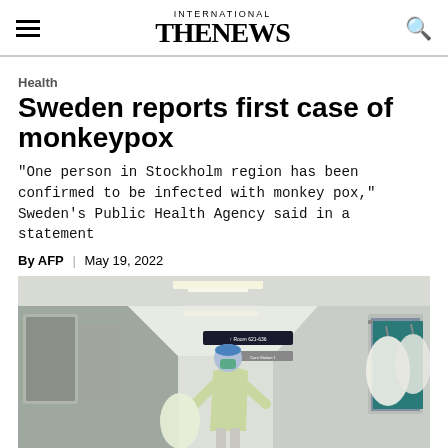INTERNATIONAL THE NEWS
Health
Sweden reports first case of monkeypox
"One person in Stockholm region has been confirmed to be infected with monkey pox," Sweden's Public Health Agency said in a statement
By AFP | May 19, 2022
[Figure (photo): Healthcare worker in full PPE gear (blue cap, green gown, face mask) walking through a hospital corridor carrying large white biohazard bags; hospital hallway with ceiling lights, signs, and doors visible]